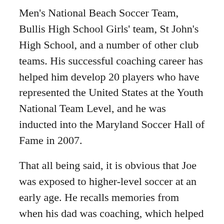Men's National Beach Soccer Team, Bullis High School Girls' team, St John's High School, and a number of other club teams. His successful coaching career has helped him develop 20 players who have represented the United States at the Youth National Team Level, and he was inducted into the Maryland Soccer Hall of Fame in 2007.
That all being said, it is obvious that Joe was exposed to higher-level soccer at an early age. He recalls memories from when his dad was coaching, which helped shape his career and work ethic at a young age.
“I would do soccer camps with my dad for 10 weeks in the summer, every day, from 9 to 5” says the Silver Spring native. “My dad was working camps all summer, so I was there all day. Then he would have clinics after camp, where I would train after. Some days, we would be out from 7 in the morning, and not come home until